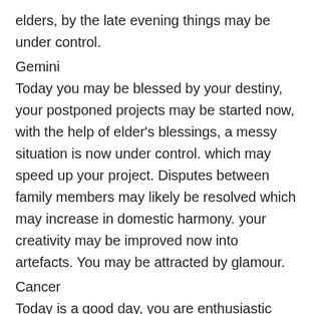elders, by the late evening things may be under control.
Gemini
Today you may be blessed by your destiny, your postponed projects may be started now, with the help of elder's blessings, a messy situation is now under control. which may speed up your project. Disputes between family members may likely be resolved which may increase in domestic harmony. your creativity may be improved now into artefacts. You may be attracted by glamour.
Cancer
Today is a good day, you are enthusiastic today. With the help of good focus you may perform well in business and work. your boss may be supportive, you may get some new responsibilities in terms of promotion. There may be some visits to religious places. it is advised to avoid arrogance in your love life.